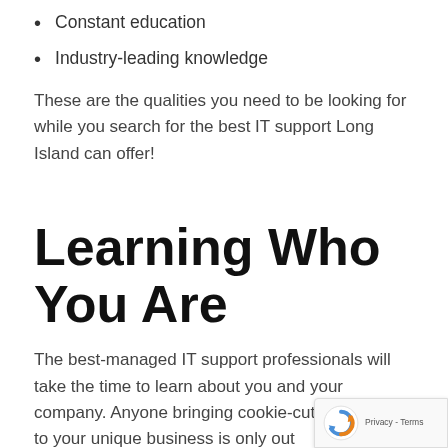Constant education
Industry-leading knowledge
These are the qualities you need to be looking for while you search for the best IT support Long Island can offer!
Learning Who You Are
The best-managed IT support professionals will take the time to learn about you and your company. Anyone bringing cookie-cutter solutions to your unique business is only out